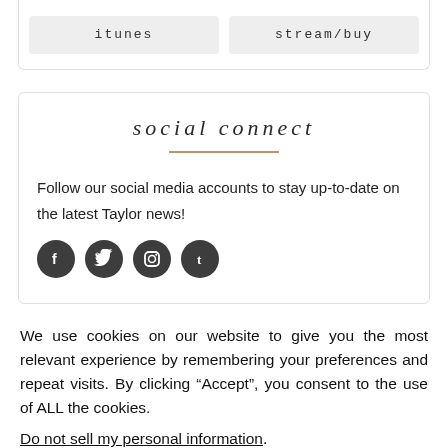itunes
stream/buy
social connect
Follow our social media accounts to stay up-to-date on the latest Taylor news!
[Figure (illustration): Four dark circular social media icons: Facebook, Twitter, Instagram, Tumblr]
We use cookies on our website to give you the most relevant experience by remembering your preferences and repeat visits. By clicking “Accept”, you consent to the use of ALL the cookies.
Do not sell my personal information.
Cookie Settings
Accept